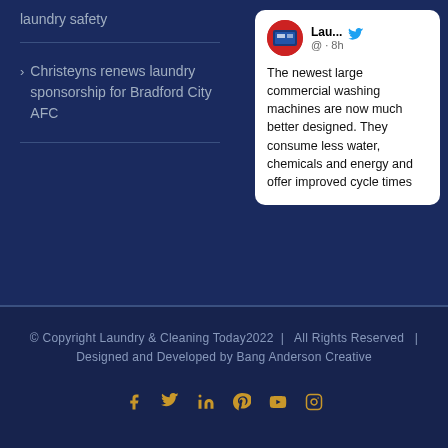laundry safety
Christeyns renews laundry sponsorship for Bradford City AFC
[Figure (screenshot): Tweet card showing Lau... account (@) 8h ago with text: The newest large commercial washing machines are now much better designed. They consume less water, chemicals and energy and offer improved cycle times]
© Copyright Laundry & Cleaning Today2022 | All Rights Reserved | Designed and Developed by Bang Anderson Creative